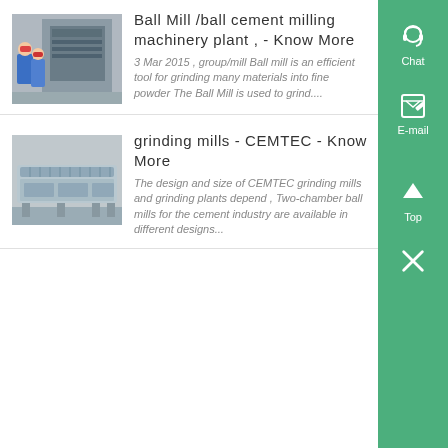[Figure (photo): Workers in blue uniforms operating industrial machinery in a factory setting]
Ball Mill /ball cement milling machinery plant , - Know More
3 Mar 2015 , group/mill Ball mill is an efficient tool for grinding many materials into fine powder The Ball Mill is used to grind....
[Figure (photo): Industrial grinding mill equipment, a long rectangular metallic structure in a factory]
grinding mills - CEMTEC - Know More
The design and size of CEMTEC grinding mills and grinding plants depend , Two-chamber ball mills for the cement industry are available in different designs...